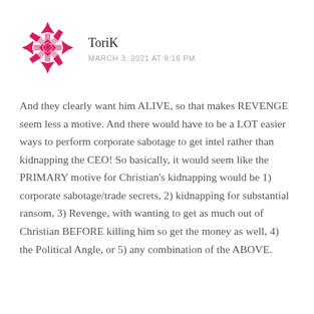[Figure (illustration): Pink/magenta geometric snowflake-like avatar icon for user ToriK]
ToriK
MARCH 3, 2021 AT 9:16 PM
And they clearly want him ALIVE, so that makes REVENGE seem less a motive. And there would have to be a LOT easier ways to perform corporate sabotage to get intel rather than kidnapping the CEO! So basically, it would seem like the PRIMARY motive for Christian's kidnapping would be 1) corporate sabotage/trade secrets, 2) kidnapping for substantial ransom, 3) Revenge, with wanting to get as much out of Christian BEFORE killing him so get the money as well, 4) the Political Angle, or 5) any combination of the ABOVE.